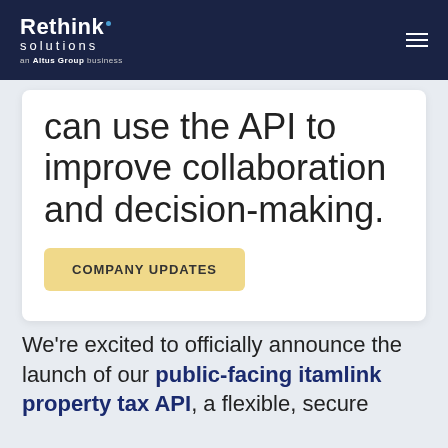Rethink solutions — an Altus Group business
can use the API to improve collaboration and decision-making.
COMPANY UPDATES
We're excited to officially announce the launch of our public-facing itamlink property tax API, a flexible, secure